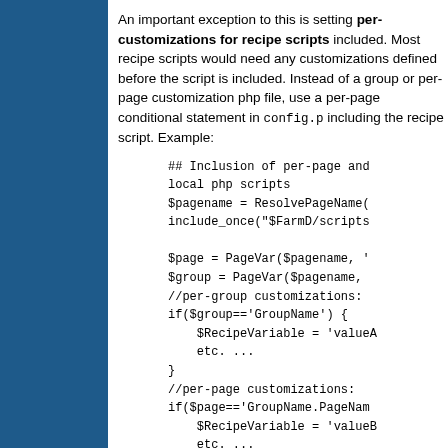An important exception to this is setting per-customizations for recipe scripts included. Most recipe scripts would need any customizations defined before the script is included. Instead of a group or per-page customization php file, use a per-page conditional statement in config.p including the recipe script. Example:
## Inclusion of per-page and local php scripts
$pagename = ResolvePageName(
 include_once("$FarmD/scripts

$page = PageVar($pagename, '
$group = PageVar($pagename,
//per-group customizations:
if($group=='GroupName') {
    $RecipeVariable = 'valueA
    etc. ...
}
//per-page customizations:
if($page=='GroupName.PageNam
    $RecipeVariable = 'valueB
    etc. ...
}
//include recipe after varia
include_once('cookbook/recip
Required reading: Order of the commands in